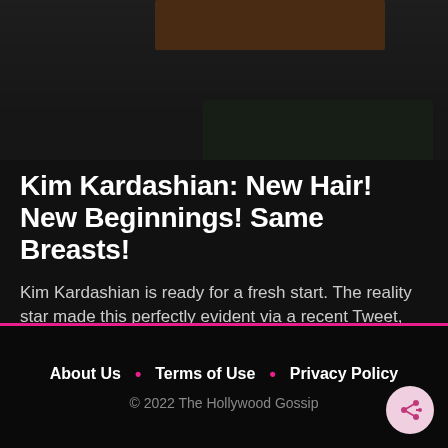[Figure (photo): Dark background with a brown thumbnail image bar and dark green box, website header area]
Kim Kardashian: New Hair! New Beginnings! Same Breasts!
Kim Kardashian is ready for a fresh start. The reality star made this perfectly evident via a recent Tweet, including ...
Jan 31, 2:16 PM • Kim Kardashian
About Us • Terms of Use • Privacy Policy
© 2022 The Hollywood Gossip